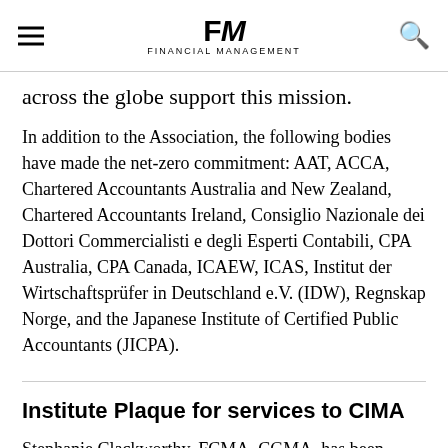FM Financial Management
across the globe support this mission.
In addition to the Association, the following bodies have made the net-zero commitment: AAT, ACCA, Chartered Accountants Australia and New Zealand, Chartered Accountants Ireland, Consiglio Nazionale dei Dottori Commercialisti e degli Esperti Contabili, CPA Australia, CPA Canada, ICAEW, ICAS, Institut der Wirtschaftsprüfer in Deutschland e.V. (IDW), Regnskap Norge, and the Japanese Institute of Certified Public Accountants (JICPA).
Institute Plaque for services to CIMA
Stephanie Clackworthy, FCMA, CGMA, has been awarded the Institute Plaque for her services to CIMA